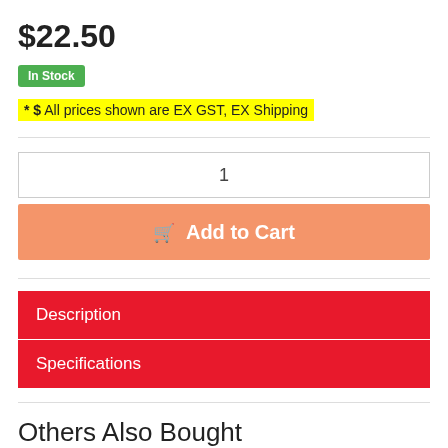$22.50
In Stock
* $ All prices shown are EX GST, EX Shipping
1
Add to Cart
Description
Specifications
Others Also Bought